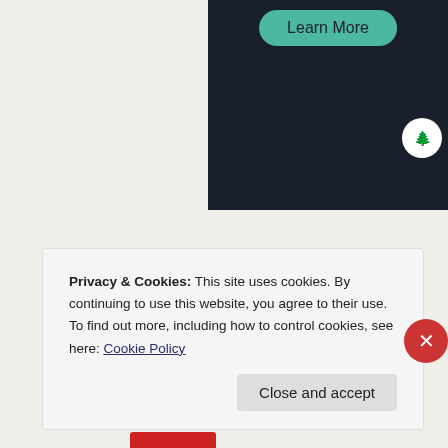[Figure (screenshot): Top dark navy banner with a teal 'Learn More' rounded button and a white circle icon with a tree/house symbol]
Share this:
[Figure (screenshot): Print and More share buttons with icons]
Loading...
Privacy & Cookies: This site uses cookies. By continuing to use this website, you agree to their use.
To find out more, including how to control cookies, see here: Cookie Policy
Close and accept